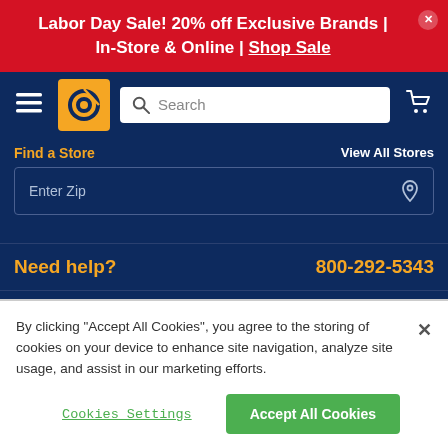Labor Day Sale! 20% off Exclusive Brands | In-Store & Online | Shop Sale
[Figure (screenshot): Navigation bar with hamburger menu, Discount Tire logo in yellow square, search bar, and shopping cart icon on dark blue background]
Find a Store    View All Stores
Enter Zip
Need help?    800-292-5343
Start a Return
By clicking "Accept All Cookies", you agree to the storing of cookies on your device to enhance site navigation, analyze site usage, and assist in our marketing efforts.
Cookies Settings    Accept All Cookies